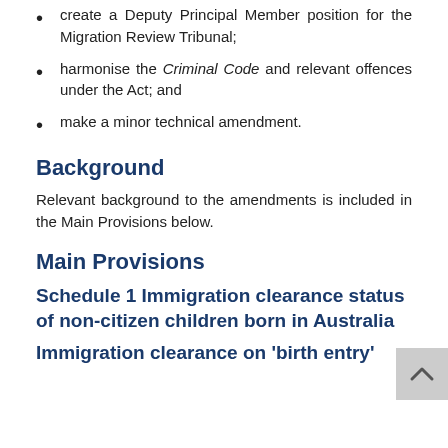create a Deputy Principal Member position for the Migration Review Tribunal;
harmonise the Criminal Code and relevant offences under the Act; and
make a minor technical amendment.
Background
Relevant background to the amendments is included in the Main Provisions below.
Main Provisions
Schedule 1 Immigration clearance status of non-citizen children born in Australia
Immigration clearance on 'birth entry'